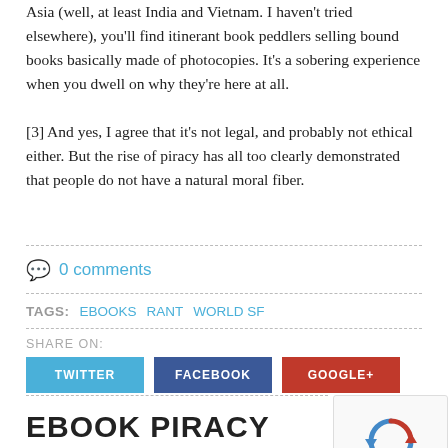Asia (well, at least India and Vietnam. I haven't tried elsewhere), you'll find itinerant book peddlers selling bound books basically made of photocopies. It's a sobering experience when you dwell on why they're here at all.
[3] And yes, I agree that it's not legal, and probably not ethical either. But the rise of piracy has all too clearly demonstrated that people do not have a natural moral fiber.
0 comments
TAGS:   EBOOKS   RANT   WORLD SF
SHARE ON:
TWITTER   FACEBOOK   GOOGLE+
EBOOK PIRACY